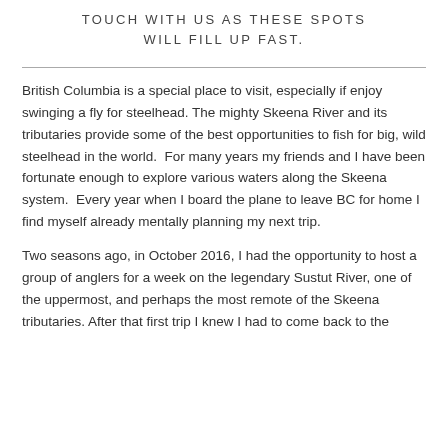TOUCH WITH US AS THESE SPOTS WILL FILL UP FAST.
British Columbia is a special place to visit, especially if enjoy swinging a fly for steelhead. The mighty Skeena River and its tributaries provide some of the best opportunities to fish for big, wild steelhead in the world.  For many years my friends and I have been fortunate enough to explore various waters along the Skeena system.  Every year when I board the plane to leave BC for home I find myself already mentally planning my next trip.
Two seasons ago, in October 2016, I had the opportunity to host a group of anglers for a week on the legendary Sustut River, one of the uppermost, and perhaps the most remote of the Skeena tributaries. After that first trip I knew I had to come back to the